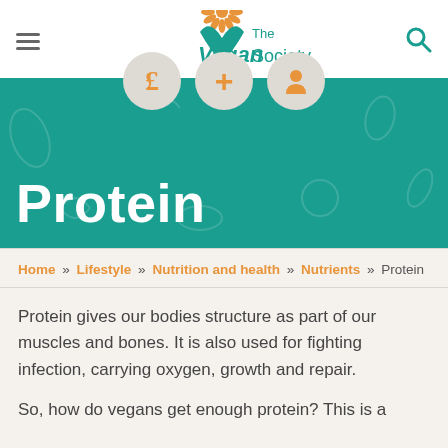[Figure (logo): The Vegan Society logo — teal leaf/plant icon with 'The Vegan Society' text in teal, 'Vegan' in large italic]
[Figure (infographic): Teal banner with three circular icons (£ pound sign, + plus, person/account silhouette) in orange on grey circles, and large white bold text 'Protein' overlaid on a teal background with faint food illustration pattern]
Home » Lifestyle » Nutrition and health » Nutrients » Protein
Protein gives our bodies structure as part of our muscles and bones. It is also used for fighting infection, carrying oxygen, growth and repair.
So, how do vegans get enough protein? This is a